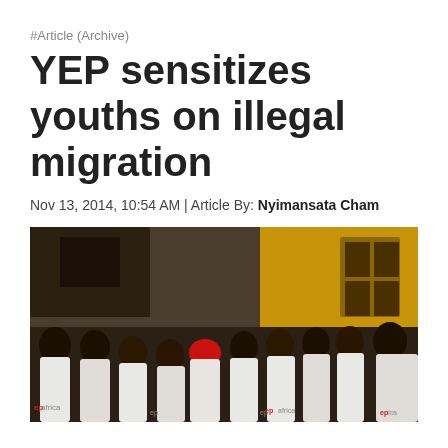#Article (Archive)
YEP sensitizes youths on illegal migration
Nov 13, 2014, 10:54 AM | Article By: Nyimansata Cham
[Figure (photo): Group of young people wearing YEP Africa white t-shirts standing outdoors in front of a building with a yellow wall. One person in the group is wearing a red hijab.]